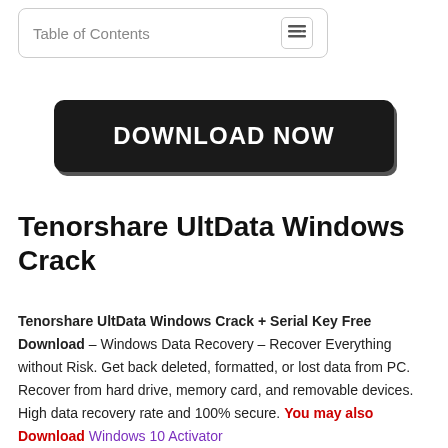Table of Contents
[Figure (other): Black rounded rectangle button with white bold text reading DOWNLOAD NOW]
Tenorshare UltData Windows Crack
Tenorshare UltData Windows Crack + Serial Key Free Download – Windows Data Recovery – Recover Everything without Risk. Get back deleted, formatted, or lost data from PC. Recover from hard drive, memory card, and removable devices. High data recovery rate and 100% secure. You may also Download Windows 10 Activator